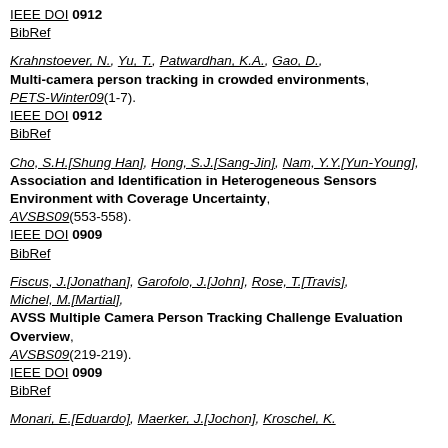IEEE DOI 0912
BibRef
Krahnstoever, N., Yu, T., Patwardhan, K.A., Gao, D., Multi-camera person tracking in crowded environments, PETS-Winter09(1-7).
IEEE DOI 0912
BibRef
Cho, S.H.[Shung Han], Hong, S.J.[Sang-Jin], Nam, Y.Y.[Yun-Young], Association and Identification in Heterogeneous Sensors Environment with Coverage Uncertainty, AVSBS09(553-558).
IEEE DOI 0909
BibRef
Fiscus, J.[Jonathan], Garofolo, J.[John], Rose, T.[Travis], Michel, M.[Martial], AVSS Multiple Camera Person Tracking Challenge Evaluation Overview, AVSBS09(219-219).
IEEE DOI 0909
BibRef
Monari, E.[Eduardo], Maerker, J.[Jochon], Kroschel, K.